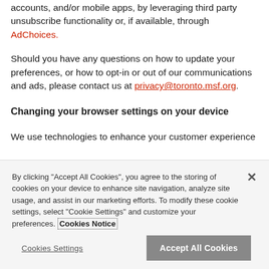accounts, and/or mobile apps, by leveraging third party unsubscribe functionality or, if available, through AdChoices.
Should you have any questions on how to update your preferences, or how to opt-in or out of our communications and ads, please contact us at privacy@toronto.msf.org.
Changing your browser settings on your device
We use technologies to enhance your customer experience
By clicking "Accept All Cookies", you agree to the storing of cookies on your device to enhance site navigation, analyze site usage, and assist in our marketing efforts. To modify these cookie settings, select "Cookie Settings" and customize your preferences. Cookies Notice